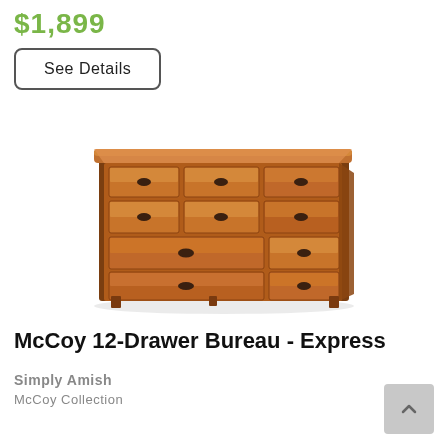$1,899
See Details
[Figure (photo): A large wooden Mission-style 12-drawer bureau/dresser with medium cherry/oak finish, multiple drawers of varying sizes with dark oval pulls, on tapered legs.]
McCoy 12-Drawer Bureau - Express
Simply Amish
McCoy Collection